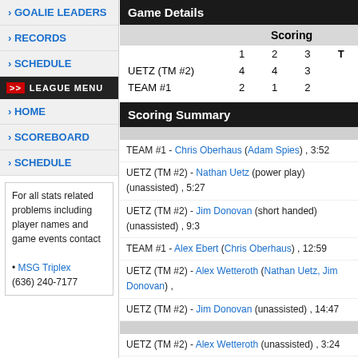GOALIE LEADERS
RECORDS
SCHEDULE
LEAGUE MENU
HOME
SCOREBOARD
SCHEDULE
For all stats related problems including player names and game events contact
• MSG Triplex
(636) 240-7177
Game Details
|  | Scoring |  |  |  |
| --- | --- | --- | --- | --- |
|  | 1 | 2 | 3 | T |
| UETZ (TM #2) | 4 | 4 | 3 |  |
| TEAM #1 | 2 | 1 | 2 |  |
Scoring Summary
TEAM #1 - Chris Oberhaus (Adam Spies) , 3:52
UETZ (TM #2) - Nathan Uetz (power play) (unassisted) , 5:27
UETZ (TM #2) - Jim Donovan (short handed) (unassisted) , 9:3
TEAM #1 - Alex Ebert (Chris Oberhaus) , 12:59
UETZ (TM #2) - Alex Wetteroth (Nathan Uetz, Jim Donovan) ,
UETZ (TM #2) - Jim Donovan (unassisted) , 14:47
UETZ (TM #2) - Alex Wetteroth (unassisted) , 3:24
UETZ (TM #2) - Hannah Wetteroth (unassisted) , 3:26
UETZ (TM #2) - Alec Garbs (unassisted) , 4:44
UETZ (TM #2) - Alec Garbs (unassisted) , 8:09
TEAM #1 - Chris Oberhaus (unassisted) , 12:27
TEAM #1 - Chris Oberhaus (Adam Spies) , 2:26
UETZ (TM #2) - Jim Donovan (Hannah Wetteroth) , 3:4